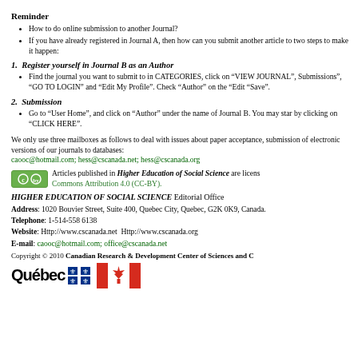Reminder
How to do online submission to another Journal?
If you have already registered in Journal A, then how can you submit another article to two steps to make it happen:
1. Register yourself in Journal B as an Author
Find the journal you want to submit to in CATEGORIES, click on “VIEW JOURNAL”, Submissions”, “GO TO LOGIN” and “Edit My Profile”. Check “Author” on the “Edit “Save”.
2. Submission
Go to “User Home”, and click on “Author” under the name of Journal B. You may star by clicking on “CLICK HERE”.
We only use three mailboxes as follows to deal with issues about paper acceptance, submission of electronic versions of our journals to databases: caooc@hotmail.com; hess@cscanada.net; hess@cscanada.org
Articles published in Higher Education of Social Science are licensed under Creative Commons Attribution 4.0 (CC-BY).
HIGHER EDUCATION OF SOCIAL SCIENCE Editorial Office
Address: 1020 Bouvier Street, Suite 400, Quebec City, Quebec, G2K 0K9, Canada.
Telephone: 1-514-558 6138
Website: Http://www.cscanada.net Http://www.cscanada.org
E-mail: caooc@hotmail.com; office@cscanada.net
Copyright © 2010 Canadian Research & Development Center of Sciences and C
[Figure (logo): Québec fleur-de-lis logo and Canadian maple leaf flag logo]